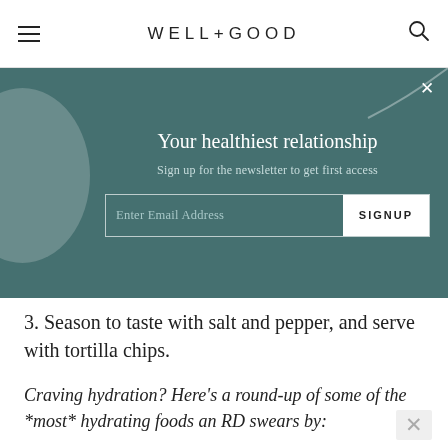WELL+GOOD
[Figure (screenshot): Newsletter sign-up banner with teal background, decorative circle and curved line, title 'Your healthiest relationship', subtitle 'Sign up for the newsletter to get first access', email input and SIGNUP button]
3. Season to taste with salt and pepper, and serve with tortilla chips.
Craving hydration? Here’s a round-up of some of the *most* hydrating foods an RD swears by: